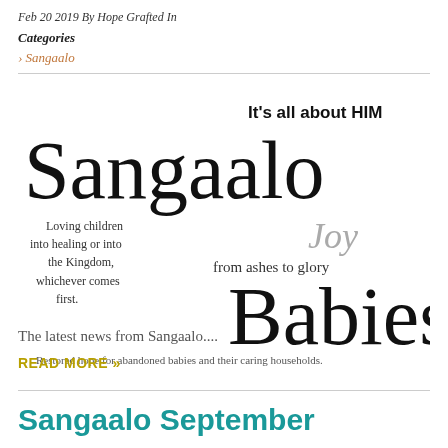Feb 20 2019 By Hope Grafted In
Categories
› Sangaalo
[Figure (logo): Sangaalo Babies logo with handwritten and script text. Large script 'Sangaalo' across the center, bold 'It's all about HIM' at top right, handwritten text on left: 'Loving children into healing or into the Kingdom, whichever comes first.' Script 'Joy' and 'from ashes to glory' in middle, large bold script 'Babies' at bottom right. Tagline: 'Restored hope for abandoned babies and their caring households.']
The latest news from Sangaalo....
READ MORE  »
Sangaalo September